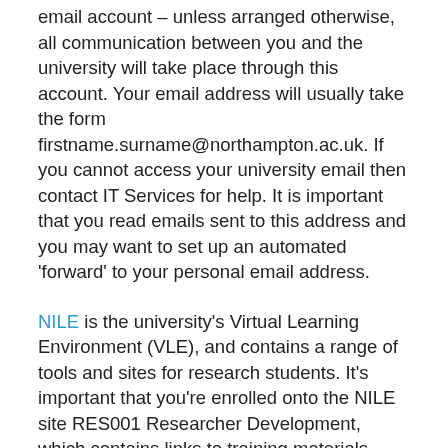email account – unless arranged otherwise, all communication between you and the university will take place through this account. Your email address will usually take the form firstname.surname@northampton.ac.uk. If you cannot access your university email then contact IT Services for help. It is important that you read emails sent to this address and you may want to set up an automated 'forward' to your personal email address.
NILE is the university's Virtual Learning Environment (VLE), and contains a range of tools and sites for research students. It's important that you're enrolled onto the NILE site RES001 Researcher Development, which contains links to training materials from Graduate School programmes and other useful information.
RES001 should appear under My courses on your NILE